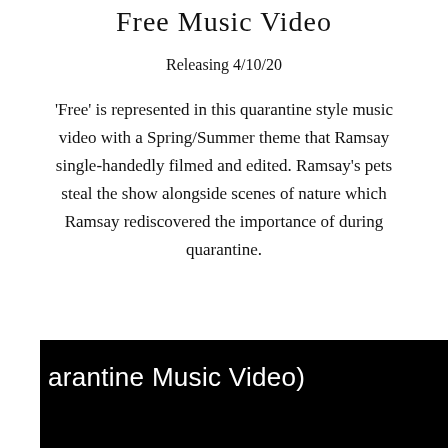Free Music Video
Releasing 4/10/20
'Free' is represented in this quarantine style music video with a Spring/Summer theme that Ramsay single-handedly filmed and edited. Ramsay's pets steal the show alongside scenes of nature which Ramsay rediscovered the importance of during quarantine.
[Figure (screenshot): A black video thumbnail/embed showing partial text 'arantine Music Video)']